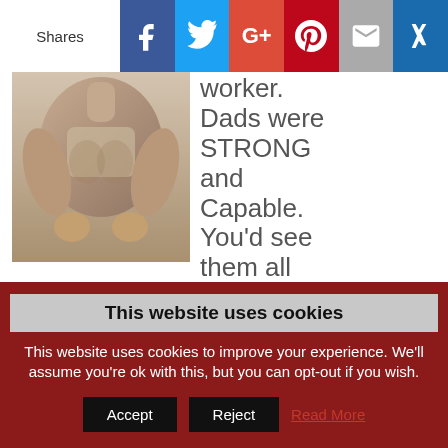Shares | [Facebook] [Twitter] [G+] [Pinterest] [Email] [Crown]
[Figure (photo): Black and white photo of a muscular man's torso and arms, shirtless, leaning forward with hands gripping something.]
worker. Dads were STRONG and Capable. You'd see them all doing yard work, working on cars, lifting weights in the basement, going to the park and running.
This website uses cookies
This website uses cookies to improve your experience. We'll assume you're ok with this, but you can opt-out if you wish.
Accept | Reject | Read More